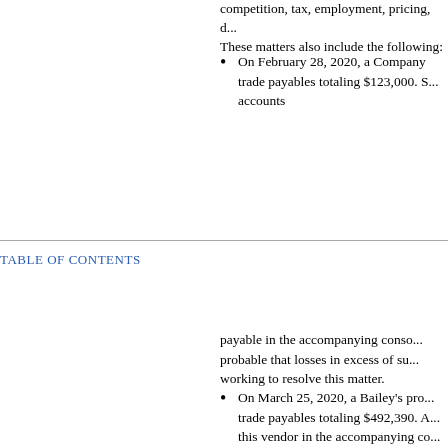competition, tax, employment, pricing, d... These matters also include the following:
On February 28, 2020, a Company trade payables totaling $123,000. S... accounts
TABLE OF CONTENTS
payable in the accompanying conso... probable that losses in excess of su... working to resolve this matter.
On March 25, 2020, a Bailey's pro... trade payables totaling $492,390. A... this vendor in the accompanying co... probable that losses in excess of su... vendor have entered into a settleme... approximately $37,000, the initial p... the payment schedule, any remaini... obligations based on the prescribed... payments made.